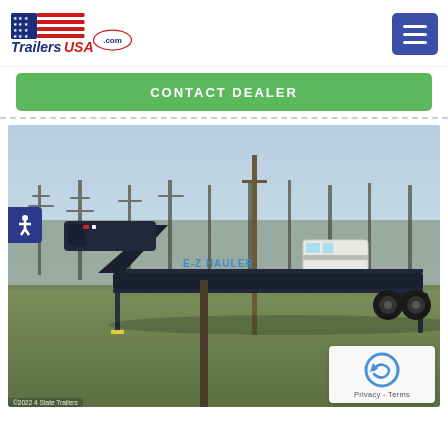[Figure (logo): TrailersUSA.com logo with American flag stars and stripes graphic]
CONTACT DEALER
[Figure (photo): A large flatbed gooseneck trailer parked on a grass field outdoors, with bare trees and utility poles in the background and a white camper visible in the distance]
©2022 4 State Trailers